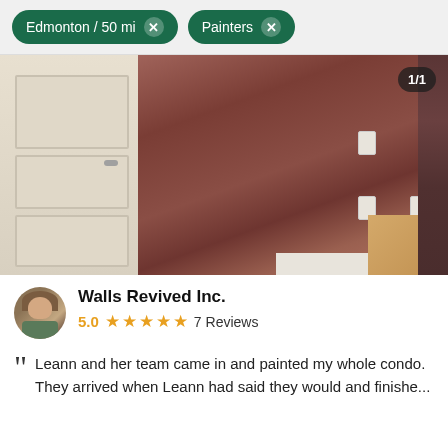Edmonton / 50 mi  Painters
[Figure (photo): Interior room photo showing a brown/rust painted wall with white door on the left, light switches/outlets on the wall, white baseboard, and hardwood floor visible at the right corner. Dark curtain on far right. Badge showing 1/1 in top right corner.]
Walls Revived Inc.
5.0  ★★★★★  7 Reviews
Leann and her team came in and painted my whole condo. They arrived when Leann had said they would and finishe...